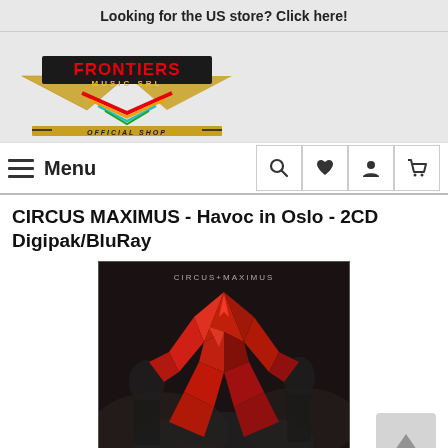Looking for the US store? Click here!
[Figure (logo): Frontiers Music SRL Official Shop logo — stylized wings with colorful layered chevron, text reading FRONTIERS MUSIC SRL and OFFICIAL SHOP]
Menu
CIRCUS MAXIMUS - Havoc in Oslo - 2CD Digipak/BluRay
[Figure (photo): Album cover for Circus Maximus - Havoc in Oslo: dark background with a dramatic red geometric / origami-style bird or eagle figure with musicians' silhouettes in smoky atmosphere. Text reads CIRCUS+MAXIMUS at top.]